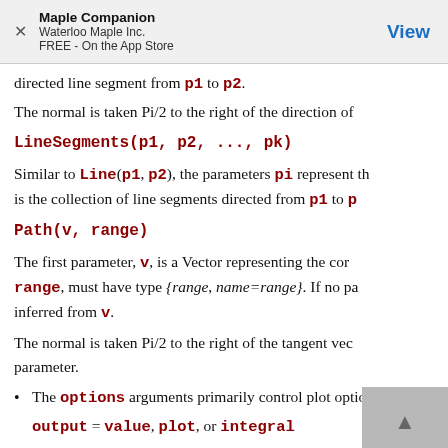Maple Companion
Waterloo Maple Inc.
FREE - On the App Store
View
directed line segment from p1 to p2.
The normal is taken Pi/2 to the right of the direction of
LineSegments(p1, p2, ..., pk)
Similar to Line(p1, p2), the parameters pi represent th is the collection of line segments directed from p1 to p
Path(v, range)
The first parameter, v, is a Vector representing the cor range, must have type {range, name=range}. If no pa inferred from v.
The normal is taken Pi/2 to the right of the tangent ve parameter.
The options arguments primarily control plot options output = value, plot, or integral
This option controls the return value of the command